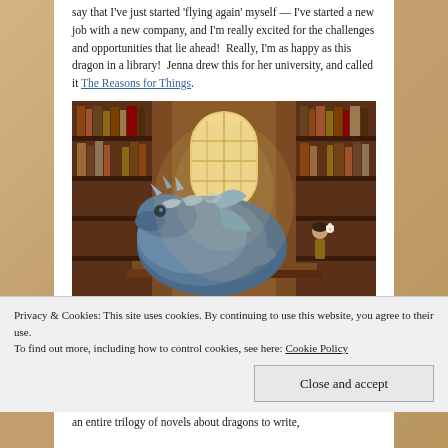say that I've just started 'flying again' myself — I've started a new job with a new company, and I'm really excited for the challenges and opportunities that lie ahead!  Really, I'm as happy as this dragon in a library!  Jenna drew this for her university, and called it The Reasons for Things.
[Figure (illustration): Illustration of a blue dragon curled up in a library with tall bookshelves on both sides, an arched window with light streaming in at the back, and a small figure of a girl with a flower standing near the dragon.]
Privacy & Cookies: This site uses cookies. By continuing to use this website, you agree to their use.
To find out more, including how to control cookies, see here: Cookie Policy
Close and accept
an entire trilogy of novels about dragons to write,